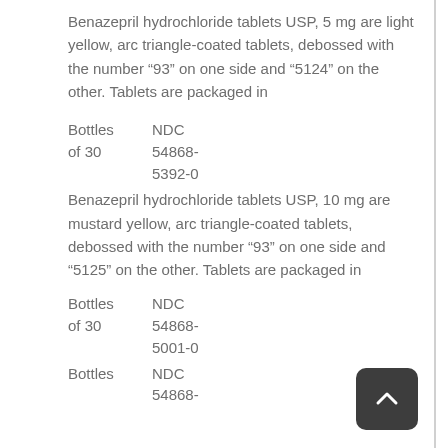Benazepril hydrochloride tablets USP, 5 mg are light yellow, arc triangle-coated tablets, debossed with the number ‘93” on one side and ‘5124” on the other. Tablets are packaged in
|  | NDC |
| --- | --- |
| Bottles of 30 | 54868-5392-0 |
Benazepril hydrochloride tablets USP, 10 mg are mustard yellow, arc triangle-coated tablets, debossed with the number ‘93” on one side and ‘5125” on the other. Tablets are packaged in
|  | NDC |
| --- | --- |
| Bottles of 30 | 54868-5001-0 |
| Bottles | 54868-... |
[Figure (other): Back to top button - dark rounded square with upward chevron arrow]